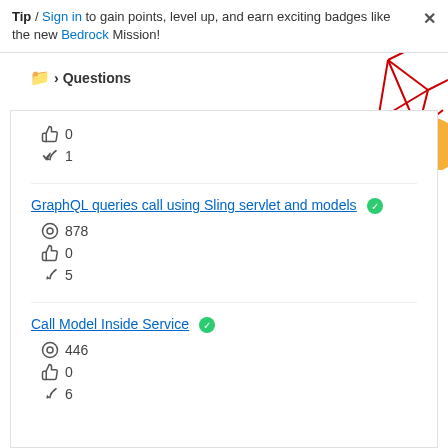Tip / Sign in to gain points, level up, and earn exciting badges like the new Bedrock Mission!
📁 > Questions
👍 0 | ↩ 1
GraphQL queries call using Sling servlet and models ✅
👁 878 | 👍 0 | ↩ 5
Call Model Inside Service ✅
👁 446 | 👍 0 | ↩ 6